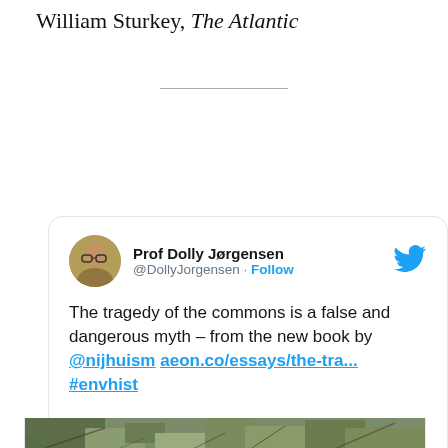William Sturkey, The Atlantic
[Figure (screenshot): Tweet by Prof Dolly Jørgensen (@DollyJorgensen) with Follow button and Twitter bird logo. Tweet text: 'The tragedy of the commons is a false and dangerous myth – from the new book by @nijhuism aeon.co/essays/the-tra... #envhist

One note: Hardin's racism is not a bug in his theory - he thought it was a feature. Many like tragedy of commons bc it supports own ideas of superiority.' Followed by a partial image of vegetation/landscape.]